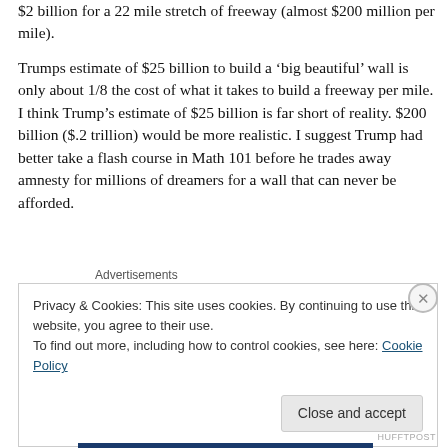$2 billion for a 22 mile stretch of freeway (almost $200 million per mile).
Trumps estimate of $25 billion to build a ‘big beautiful’ wall is only about 1/8 the cost of what it takes to build a freeway per mile. I think Trump’s estimate of $25 billion is far short of reality. $200 billion ($.2 trillion) would be more realistic. I suggest Trump had better take a flash course in Math 101 before he trades away amnesty for millions of dreamers for a wall that can never be afforded.
Advertisements
Privacy & Cookies: This site uses cookies. By continuing to use this website, you agree to their use.
To find out more, including how to control cookies, see here: Cookie Policy
Close and accept